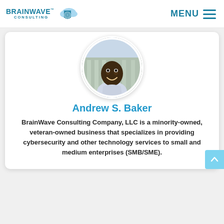[Figure (logo): BrainWave Consulting logo with shield and cloud icon in blue tones]
MENU ≡
[Figure (photo): Circular profile photo of Andrew S. Baker, smiling man]
Andrew S. Baker
BrainWave Consulting Company, LLC is a minority-owned, veteran-owned business that specializes in providing cybersecurity and other technology services to small and medium enterprises (SMB/SME).